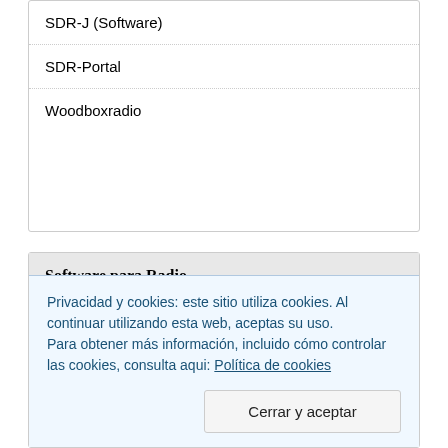SDR-J (Software)
SDR-Portal
Woodboxradio
Software para Radio
CW Skimmer
CwGet
DSC Decoder
FLDGI
Privacidad y cookies: este sitio utiliza cookies. Al continuar utilizando esta web, aceptas su uso.
Para obtener más información, incluido cómo controlar las cookies, consulta aqui: Política de cookies
Cerrar y aceptar